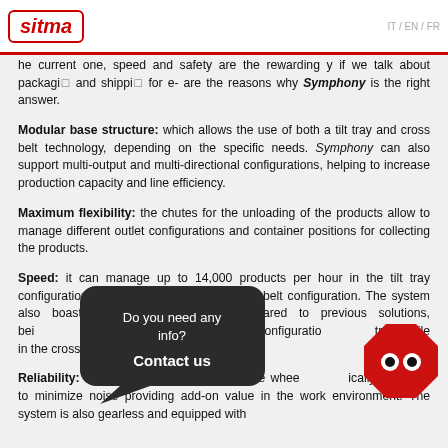sitma | IT / EN / FR
he current one, speed and safety are the rewarding y if we talk about packaging and shipping for e- are the reasons why Symphony is the right answer.
Modular base structure: which allows the use of both a tilt tray and cross belt technology, depending on the specific needs. Symphony can also support multi-output and multi-directional configurations, helping to increase production capacity and line efficiency.
Maximum flexibility: the chutes for the unloading of the products allow to manage different outlet configurations and container positions for collecting the products.
Speed: it can manage up to 14,000 products per hour in the tilt tray configuration and up to 20,000 in the cross-belt configuration. The system also boasts [ity compared to previous solutions, bei[navier products. In the tilt-tray configuratio[ tray, while in the cross-belt configuration[
Reliability: Symphony runs on polyurethane whee[ically designed to minimize noise providing add-on value in the work environment. The system is also gearless and equipped with
[Figure (other): Dark speech bubble overlay with text 'Do you need any info? Contact us' and a red monster emoji icon]